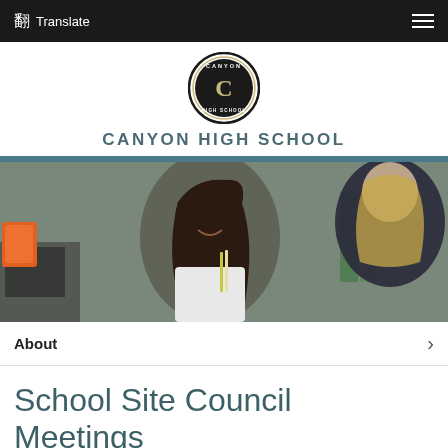Translate  ☰
[Figure (logo): Canyon High School circular logo with stylized C in center]
CANYON HIGH SCHOOL
[Figure (photo): Two high school students laughing and talking in a classroom setting]
About  >
School Site Council Meetings